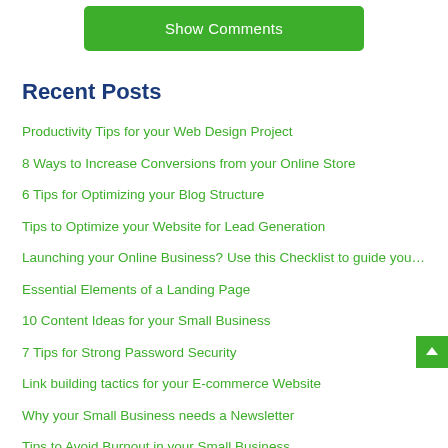Show Comments
Recent Posts
Productivity Tips for your Web Design Project
8 Ways to Increase Conversions from your Online Store
6 Tips for Optimizing your Blog Structure
Tips to Optimize your Website for Lead Generation
Launching your Online Business? Use this Checklist to guide you…
Essential Elements of a Landing Page
10 Content Ideas for your Small Business
7 Tips for Strong Password Security
Link building tactics for your E-commerce Website
Why your Small Business needs a Newsletter
Tips to Avoid Burnout in your Small Business
How to Create Product Descriptions for an Online Store